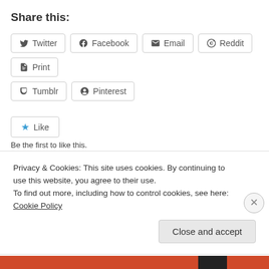Share this:
Twitter   Facebook   Email   Reddit   Print   Tumblr   Pinterest
Like
Be the first to like this.
January 4, 2013    Leave a Reply
Privacy & Cookies: This site uses cookies. By continuing to use this website, you agree to their use.
To find out more, including how to control cookies, see here: Cookie Policy
Close and accept